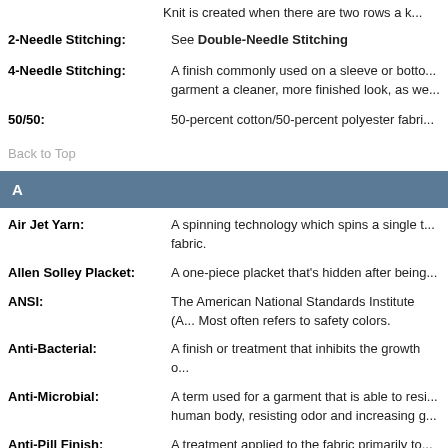Knit is created when there are two rows a k...
2-Needle Stitching: See Double-Needle Stitching
4-Needle Stitching: A finish commonly used on a sleeve or botto... garment a cleaner, more finished look, as we...
50/50: 50-percent cotton/50-percent polyester fabri...
Back to Top
A
Air Jet Yarn: A spinning technology which spins a single t... fabric.
Allen Solley Placket: A one-piece placket that's hidden after being...
ANSI: The American National Standards Institute (A... Most often refers to safety colors.
Anti-Bacterial: A finish or treatment that inhibits the growth o...
Anti-Microbial: A term used for a garment that is able to resi... human body, resisting odor and increasing g...
Anti-Pill Finish: A treatment applied to the fabric primarily to...